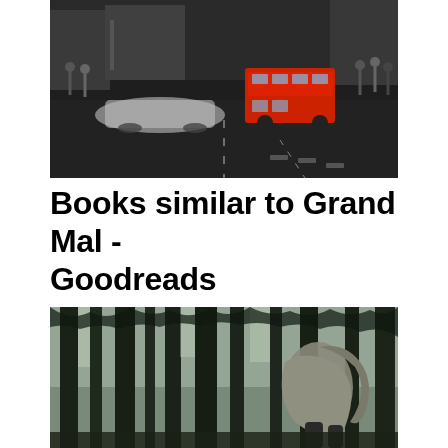[Figure (photo): Busy urban street scene with motion-blurred cars including a white sedan and a red double-decker bus, pedestrians on sidewalks, taken from road level with dark asphalt in foreground]
Books similar to Grand Mal - Goodreads
[Figure (photo): Person wearing a grey coat or jacket, jumping or moving through a dense forest of tall dark trees with light filtering through the canopy above]